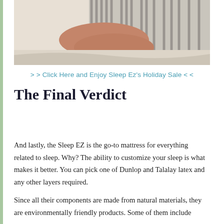[Figure (photo): Person lying in bed hugging a striped pillow, photographed from above showing their torso and arms.]
> > Click Here and Enjoy Sleep Ez's Holiday Sale < <
The Final Verdict
And lastly, the Sleep EZ is the go-to mattress for everything related to sleep. Why? The ability to customize your sleep is what makes it better. You can pick one of Dunlop and Talalay latex and any other layers required.
Since all their components are made from natural materials, they are environmentally friendly products. Some of them include